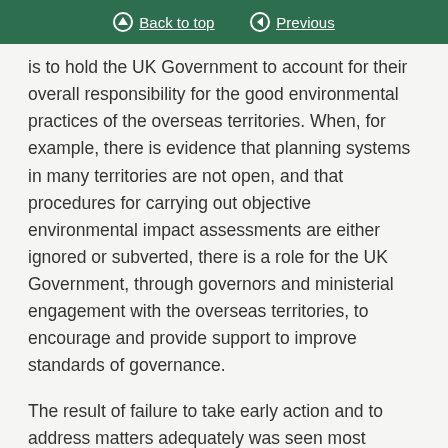Back to top | Previous
is to hold the UK Government to account for their overall responsibility for the good environmental practices of the overseas territories. When, for example, there is evidence that planning systems in many territories are not open, and that procedures for carrying out objective environmental impact assessments are either ignored or subverted, there is a role for the UK Government, through governors and ministerial engagement with the overseas territories, to encourage and provide support to improve standards of governance.
The result of failure to take early action and to address matters adequately was seen most recently in 2009 in the Turks and Caicos Islands, when the Government had to introduce direct rule. Given that